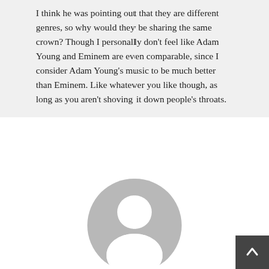I think he was pointing out that they are different genres, so why would they be sharing the same crown? Though I personally don't feel like Adam Young and Eminem are even comparable, since I consider Adam Young's music to be much better than Eminem. Like whatever you like though, as long as you aren't shoving it down people's throats.
[Figure (illustration): Generic user avatar icon — a gray circle with a white silhouette of a person's head and shoulders]